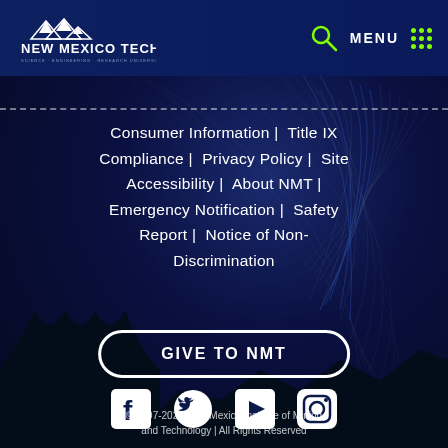[Figure (logo): New Mexico Tech logo with mountain silhouette and text]
Consumer Information | Title IX Compliance | Privacy Policy | Site Accessibility | About NMT | Emergency Notification | Safety Report | Notice of Non-Discrimination
GIVE TO NMT
[Figure (illustration): Social media icons: Facebook, Twitter, YouTube, Instagram]
© 1997-2022 New Mexico Institute of Mining and Technology | All Rights Reserved